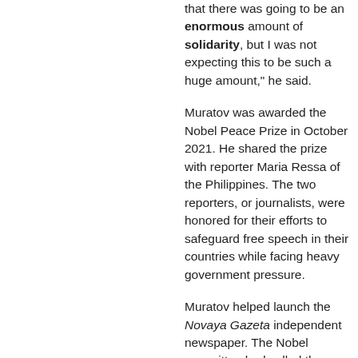that there was going to be an enormous amount of solidarity, but I was not expecting this to be such a huge amount," he said.
Muratov was awarded the Nobel Peace Prize in October 2021. He shared the prize with reporter Maria Ressa of the Philippines. The two reporters, or journalists, were honored for their efforts to safeguard free speech in their countries while facing heavy government pressure.
Muratov helped launch the Novaya Gazeta independent newspaper. The Nobel committee had called the publication "the most independent newspaper in Russia today." The committee praised the paper for providing Russians with